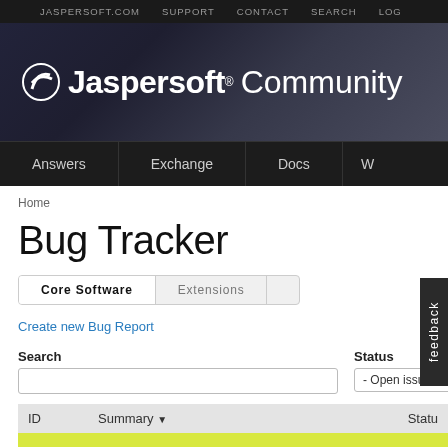JASPERSOFT.COM   SUPPORT   CONTACT   SEARCH   LOG
Jaspersoft Community
Answers   Exchange   Docs   W
Home
Bug Tracker
Core Software   Extensions
Create new Bug Report
Search
Status
- Open issues -
| ID | Summary | Statu |
| --- | --- | --- |